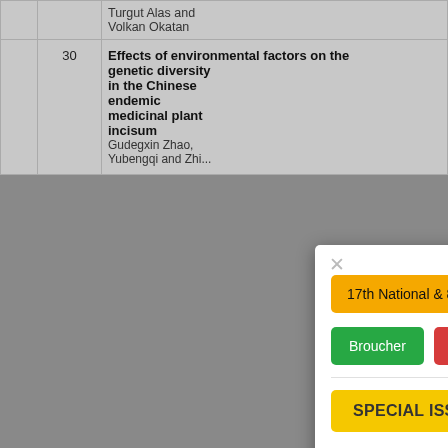|  | Page | Title | Authors |
| --- | --- | --- | --- |
|  |  | Turgut Alas and Volkan Okatan |  |
|  | 30 | Effects of environmental factors on the genetic diversity in the Chinese endemic medicinal plant incisum | Gudegxin Zhao, Yubengqi and Zhi... |
[Figure (screenshot): A popup/modal dialog overlay on the page. It has an X close button, an orange banner reading '17th National & 8th International Confer...', two buttons: green 'Broucher' and red 'Registration F...', a horizontal rule, a yellow 'SPECIAL ISSUE' badge, and text starting 'We invite researchers to contribute to the "Convergence of Modern Technolog... Smart Agriculture: A Adaptation of Bio... Stresses" which is in... modern technolo...']